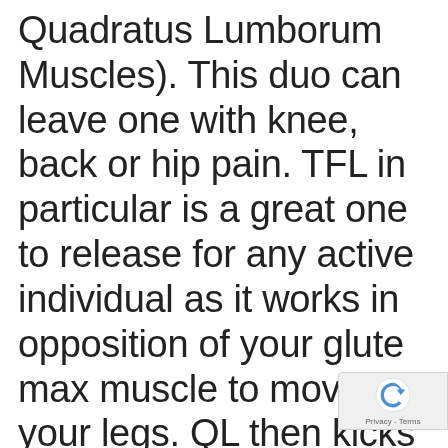Quadratus Lumborum Muscles). This duo can leave one with knee, back or hip pain. TFL in particular is a great one to release for any active individual as it works in opposition of your glute max muscle to move your legs. QL then kicks in as a co-contractor/stabilizer during movement and get predominantly stuck/tigh...
[Figure (logo): reCAPTCHA badge with spinning arrow logo and 'Privacy - Terms' text]